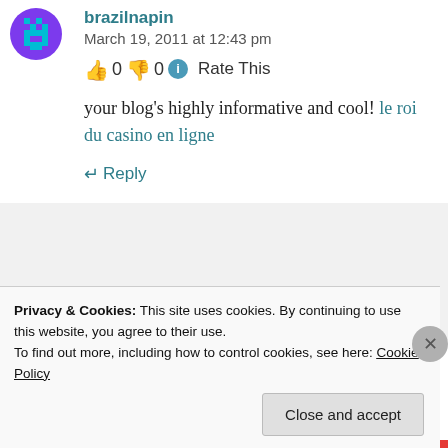brazilnapin
March 19, 2011 at 12:43 pm
0  0  Rate This
your blog's highly informative and cool! le roi du casino en ligne
↵ Reply
bonus casino en ligne
Privacy & Cookies: This site uses cookies. By continuing to use this website, you agree to their use.
To find out more, including how to control cookies, see here: Cookie Policy
Close and accept